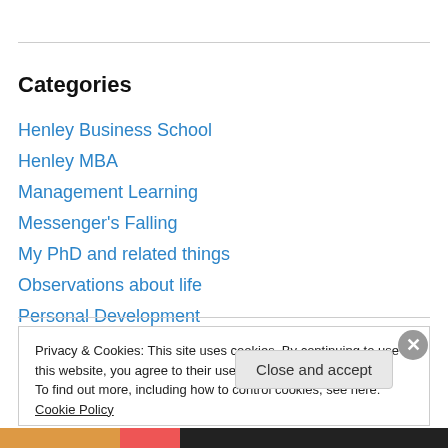Categories
Henley Business School
Henley MBA
Management Learning
Messenger's Falling
My PhD and related things
Observations about life
Personal Development
Privacy & Cookies: This site uses cookies. By continuing to use this website, you agree to their use. To find out more, including how to control cookies, see here: Cookie Policy